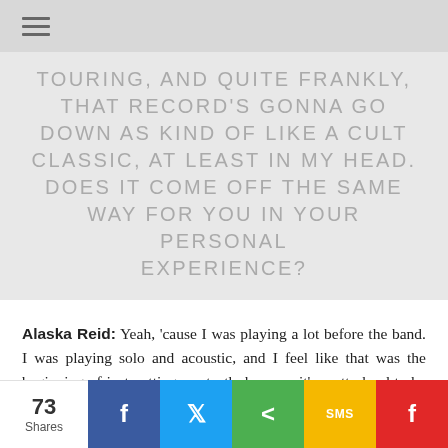☰
TOURING, AND QUITE FRANKLY, THAT RECORD'S GONNA GO DOWN AS KIND OF LIKE A CULT CLASSIC, AT LEAST IN MY HEAD. DOES IT COME OFF THE SAME WAY FOR YOU IN YOUR PERSONAL EXPERIENCE?
Alaska Reid: Yeah, 'cause I was playing a lot before the band. I was playing solo and acoustic, and I feel like that was the beginning of just cutting my teeth, because it's pretty hard to be like a 14-year-old girl playing in a sports bar on
73 Shares